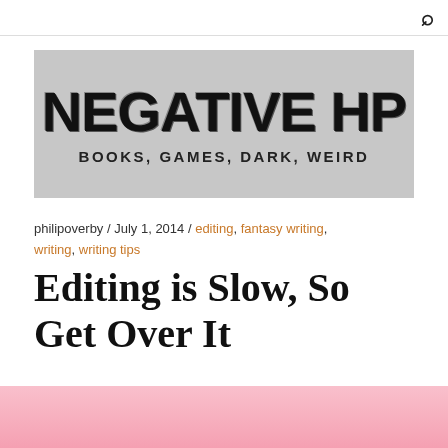🔍
[Figure (logo): Negative HP blog logo — large decorative patterned letters spelling NEGATIVE HP on a grey background, with subtitle BOOKS, GAMES, DARK, WEIRD]
philipoverby / July 1, 2014 / editing, fantasy writing, writing, writing tips
Editing is Slow, So Get Over It
[Figure (photo): Partial image visible at bottom of page with pink background, partially cut off]